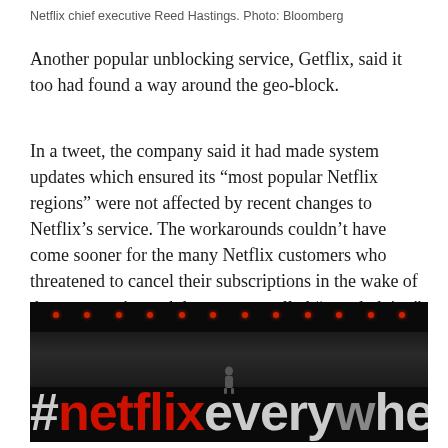Netflix chief executive Reed Hastings. Photo: Bloomberg
Another popular unblocking service, Getflix, said it too had found a way around the geo-block.
In a tweet, the company said it had made system updates which ensured its “most popular Netflix regions” were not affected by recent changes to Netflix’s service. The workarounds couldn’t have come sooner for the many Netflix customers who threatened to cancel their subscriptions in the wake of the company’s crackdown on so-called “geo-dodging”.
[Figure (photo): A stage event photo showing #netflixeverywhere text displayed on a large banner/screen with a presenter silhouette and red stage lights above an audience in a dark arena.]